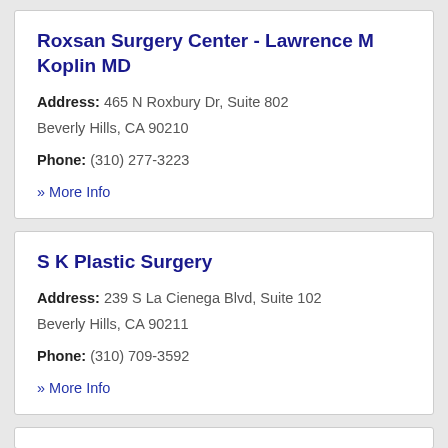Roxsan Surgery Center - Lawrence M Koplin MD
Address: 465 N Roxbury Dr, Suite 802 Beverly Hills, CA 90210
Phone: (310) 277-3223
» More Info
S K Plastic Surgery
Address: 239 S La Cienega Blvd, Suite 102 Beverly Hills, CA 90211
Phone: (310) 709-3592
» More Info